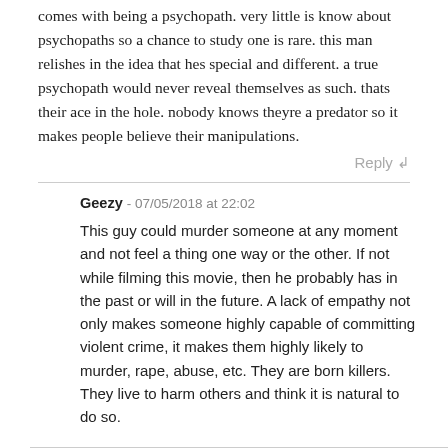comes with being a psychopath. very little is know about psychopaths so a chance to study one is rare. this man relishes in the idea that hes special and different. a true psychopath would never reveal themselves as such. thats their ace in the hole. nobody knows theyre a predator so it makes people believe their manipulations.
Reply ↲
Geezy - 07/05/2018 at 22:02
This guy could murder someone at any moment and not feel a thing one way or the other. If not while filming this movie, then he probably has in the past or will in the future. A lack of empathy not only makes someone highly capable of committing violent crime, it makes them highly likely to murder, rape, abuse, etc. They are born killers. They live to harm others and think it is natural to do so.